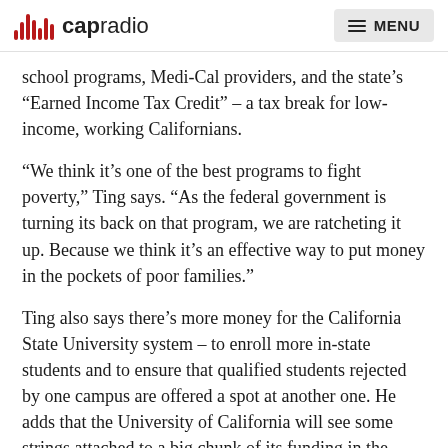capradio MENU
school programs, Medi-Cal providers, and the state’s “Earned Income Tax Credit” – a tax break for low-income, working Californians.
“We think it’s one of the best programs to fight poverty,” Ting says. “As the federal government is turning its back on that program, we are ratcheting it up. Because we think it’s an effective way to put money in the pockets of poor families.”
Ting also says there’s more money for the California State University system – to enroll more in-state students and to ensure that qualified students rejected by one campus are offered a spot at another one. He adds that the University of California will see some strings attached to a big chunk of its funding in the aftermath of a scalding state audit. And he says the deal preserves the